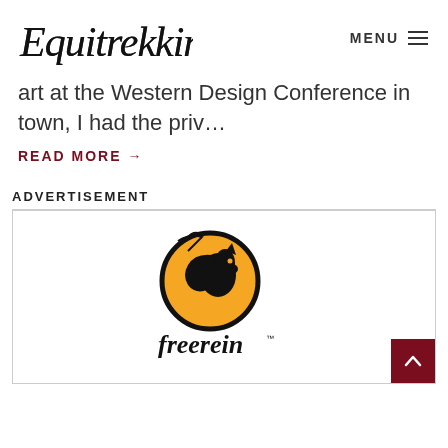Equitrekking | MENU
art at the Western Design Conference in town, I had the priv…
READ MORE →
ADVERTISEMENT
[Figure (logo): Freerein logo: black horse silhouette in orange circle with 'freerein' script text below and TM mark]